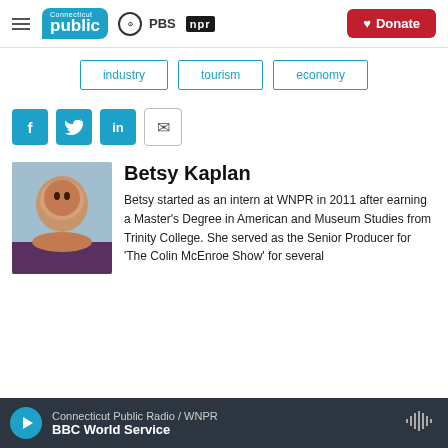Connecticut Public | PBS | NPR — Donate
industry
tourism
economy
[Figure (other): Social share buttons: Facebook, Twitter, LinkedIn, Email]
Betsy Kaplan
Betsy started as an intern at WNPR in 2011 after earning a Master's Degree in American and Museum Studies from Trinity College. She served as the Senior Producer for 'The Colin McEnroe Show' for several
Connecticut Public Radio / WNPR — BBC World Service